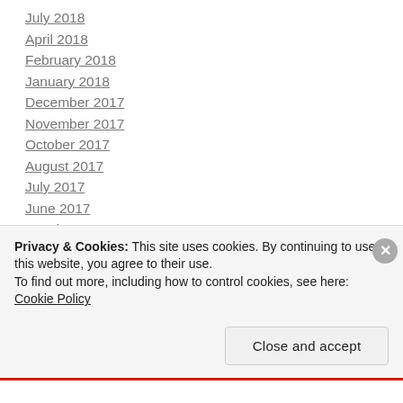July 2018
April 2018
February 2018
January 2018
December 2017
November 2017
October 2017
August 2017
July 2017
June 2017
March 2017
February 2017
January 2017
Privacy & Cookies: This site uses cookies. By continuing to use this website, you agree to their use.
To find out more, including how to control cookies, see here: Cookie Policy
Close and accept